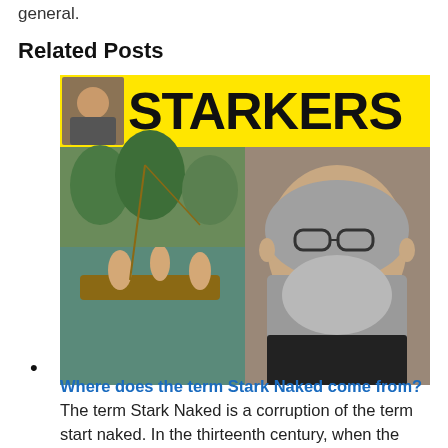general.
Related Posts
[Figure (photo): Composite image with yellow banner reading 'STARKERS' in bold black text, a small portrait photo of a bearded man top-left, a classical painting of figures in a boat in water on the bottom-left, and a photo of a bearded man with glasses on the right.]
Where does the term Stark Naked come from? The term Stark Naked is a corruption of the term start naked. In the thirteenth century, when the phrase originated, start took the Anglo-Saxon form steort, which meant "tail" or "rump." Therefore, stark...
[Figure (photo): Partial photo at the bottom of the page, mostly cropped.]